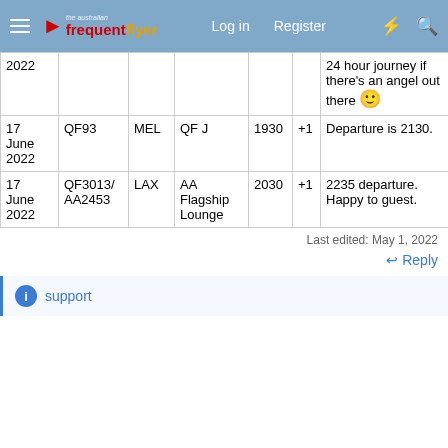the australian frequent flyer — Log in  Register
| 2022 |  |  |  |  |  | 24 hour journey if there's an angel out there 🙂 |
| 17 June 2022 | QF93 | MEL | QF J | 1930 | +1 | Departure is 2130. |
| 17 June 2022 | QF3013/AA2453 | LAX | AA Flagship Lounge | 2030 | +1 | 2235 departure. Happy to guest. |
Last edited: May 1, 2022
Reply
support